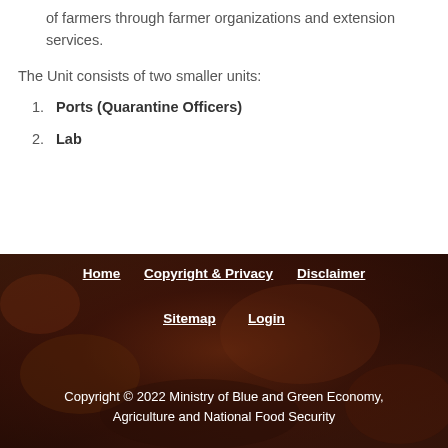of farmers through farmer organizations and extension services.
The Unit consists of two smaller units:
1. Ports (Quarantine Officers)
2. Lab
Home   Copyright & Privacy   Disclaimer   Sitemap   Login
Copyright © 2022 Ministry of Blue and Green Economy, Agriculture and National Food Security